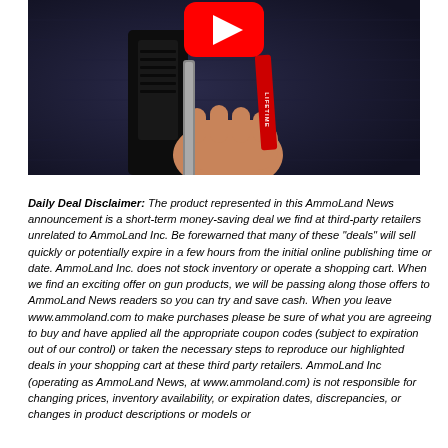[Figure (photo): A hand holding a firearm with a red lifetime tag/strap, set against a dark fabric background. A YouTube play button icon is visible at the top center.]
Daily Deal Disclaimer: The product represented in this AmmoLand News announcement is a short-term money-saving deal we find at third-party retailers unrelated to AmmoLand Inc. Be forewarned that many of these “deals” will sell quickly or potentially expire in a few hours from the initial online publishing time or date. AmmoLand Inc. does not stock inventory or operate a shopping cart. When we find an exciting offer on gun products, we will be passing along those offers to AmmoLand News readers so you can try and save cash. When you leave www.ammoland.com to make purchases please be sure of what you are agreeing to buy and have applied all the appropriate coupon codes (subject to expiration out of our control) or taken the necessary steps to reproduce our highlighted deals in your shopping cart at these third party retailers. AmmoLand Inc (operating as AmmoLand News, at www.ammoland.com) is not responsible for changing prices, inventory availability, or expiration dates, discrepancies, or changes in product descriptions or models or